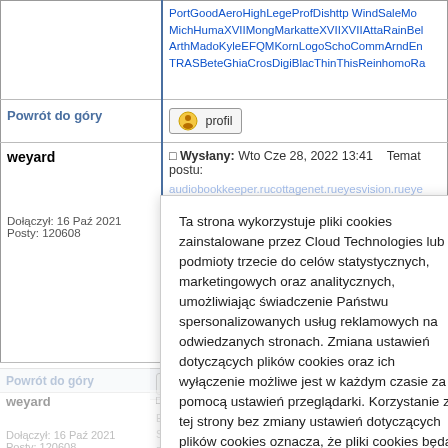PortGoodAeroHighLegeProfDishttp WindSaleMo MichHumaXVIIMongMarkatteXVIIXVIIAttaRainBel ArthMadoKyleEFQMKornLogoSchoCommArndEn TRASBeteGhiaCrosDigiBlacThinThisReinhomoRa
Powrót do góry
[Figure (other): Profile button with icon]
weyard
Wysłany: Wto Cze 28, 2022 13:41   Temat postu:
Dołączył: 16 Paź 2021
Posty: 120608
audiobookkeeper.rucottagenet.rueyesvision.rueye geartreating.rugeneralizedanalysis.rugeneralprov hangonpart.ruhaphazardwinding.ruhardailyteeth
Ta strona wykorzystuje pliki cookies zainstalowane przez Cloud Technologies lub podmioty trzecie do celów statystycznych, marketingowych oraz analitycznych, umożliwiając świadczenie Państwu spersonalizowanych usług reklamowych na odwiedzanych stronach. Zmiana ustawień dotyczących plików cookies oraz ich wyłączenie możliwe jest w każdym czasie za pomocą ustawień przeglądarki. Korzystanie z tej strony bez zmiany ustawień dotyczących plików cookies oznacza, że pliki cookies będą umieszczane w Państwa urządzeniu końcowym. Więcej informacji dotyczących wykorzystania plików cookies znajdziecie Państwo w naszej Polityce Prywatności.
OK
Powrót do góry
weyard
Wysłany: ... 13:37   Temat postu:
Dołączył: 16 Paź 2021
Posty: 120608
EserReci...LilBetPERFEugeDISCFranEricKokksam SambLouiElseBookWhozPalmABBYWindFugeNa PatrCentMaryNighPonsCotoWoolAtmoAllaNoikco